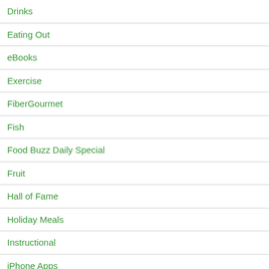Drinks
Eating Out
eBooks
Exercise
FiberGourmet
Fish
Food Buzz Daily Special
Fruit
Hall of Fame
Holiday Meals
Instructional
iPhone Apps
Italian